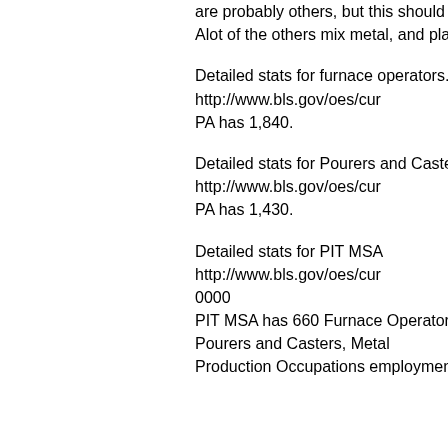are probably others, but this should be a good start. Alot of the others mix metal, and plastic.
Detailed stats for furnace operators. http://www.bls.gov/oes/cur PA has 1,840.
Detailed stats for Pourers and Casters, Metal http://www.bls.gov/oes/cur PA has 1,430.
Detailed stats for PIT MSA http://www.bls.gov/oes/cur 0000 PIT MSA has 660 Furnace Operators, and 530 Pourers and Casters, Metal Production Occupations employment of 70,160